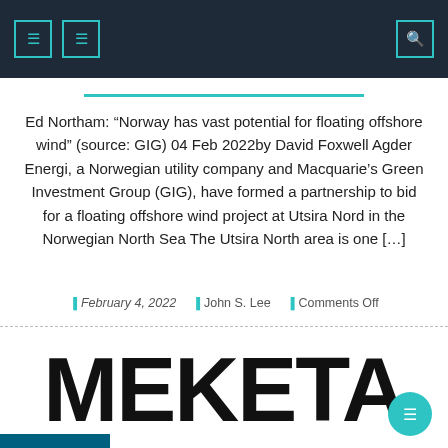Navigation header bar with icons
Ed Northam: “Norway has vast potential for floating offshore wind” (source: GIG) 04 Feb 2022by David Foxwell Agder Energi, a Norwegian utility company and Macquarie’s Green Investment Group (GIG), have formed a partnership to bid for a floating offshore wind project at Utsira Nord in the Norwegian North Sea The Utsira North area is one […]
February 4, 2022   John S. Lee   Comments Off
[Figure (logo): MEKETA logo in large bold black text with teal accent elements]